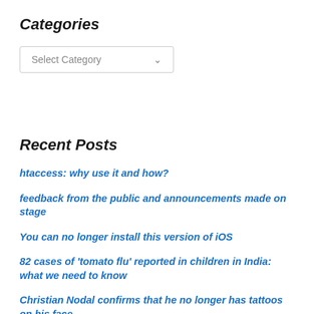Categories
[Figure (other): A dropdown widget labeled 'Select Category' with a down chevron icon]
Recent Posts
htaccess: why use it and how?
feedback from the public and announcements made on stage
You can no longer install this version of iOS
82 cases of 'tomato flu' reported in children in India: what we need to know
Christian Nodal confirms that he no longer has tattoos on his face
Nothing Phone (1) vs iPhone 13 Pro: photo comparison